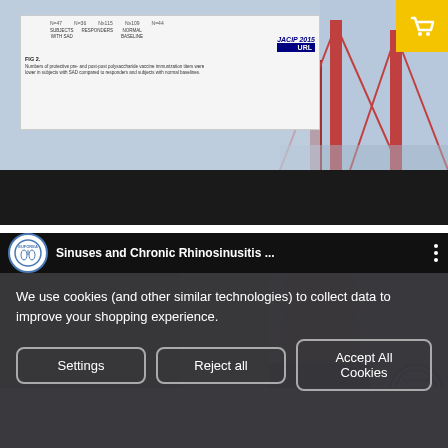[Figure (screenshot): Screenshot of a JACIP 2015 medical journal figure showing a bar chart about protective pre- and post-polysaccharide vaccine immunization titers in subjects with SAD compared to responders and subjects with normal baselines. Overlaid on a bridge illustration background.]
[Figure (screenshot): YouTube video thumbnail for 'Sinuses and Chronic Rhinosinusitis ...' from the EUFOREA channel, showing a person's face in the video frame with EUFOREA logo watermark.]
We use cookies (and other similar technologies) to collect data to improve your shopping experience.